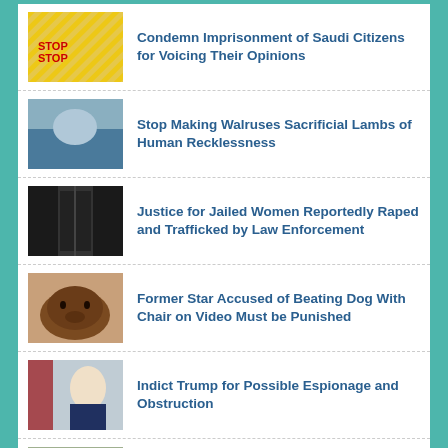Condemn Imprisonment of Saudi Citizens for Voicing Their Opinions
Stop Making Walruses Sacrificial Lambs of Human Recklessness
Justice for Jailed Women Reportedly Raped and Trafficked by Law Enforcement
Former Star Accused of Beating Dog With Chair on Video Must be Punished
Indict Trump for Possible Espionage and Obstruction
Impeach Accused Sexual Predator Brett Kavanaugh From the Supreme Court
Stop Abusive Misuse of Antibiotics on Farm Animals